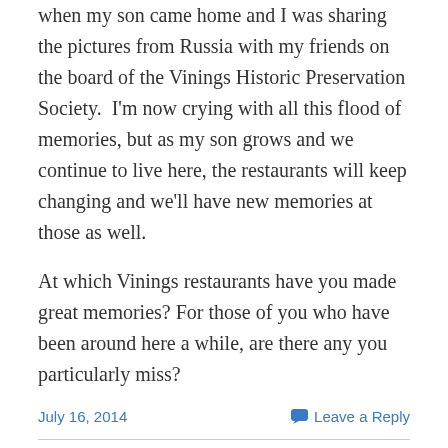when my son came home and I was sharing the pictures from Russia with my friends on the board of the Vinings Historic Preservation Society.  I'm now crying with all this flood of memories, but as my son grows and we continue to live here, the restaurants will keep changing and we'll have new memories at those as well.
At which Vinings restaurants have you made great memories? For those of you who have been around here a while, are there any you particularly miss?
July 16, 2014
Leave a Reply
2858 Orchard Knob SE
Built in 2007, this Vinings Village home is classic Vinings style. At 6,779 sq. ft., it offers 6 bedrooms, 6 full baths, 2